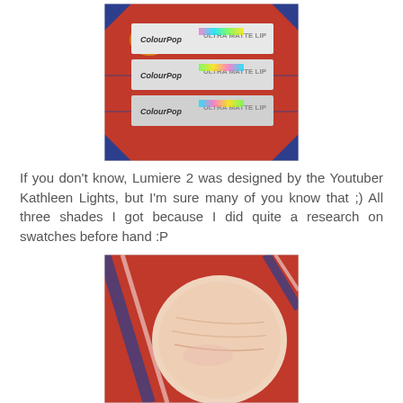[Figure (photo): Three ColourPop Ultra Matte Lip product boxes arranged on a colorful patterned red and blue background]
If you don't know, Lumiere 2 was designed by the Youtuber Kathleen Lights, but I'm sure many of you know that ;) All three shades I got because I did quite a research on swatches before hand :P
[Figure (photo): Close-up photo of a hand/wrist with lip color swatches applied on the skin, on a colorful red and blue patterned background]